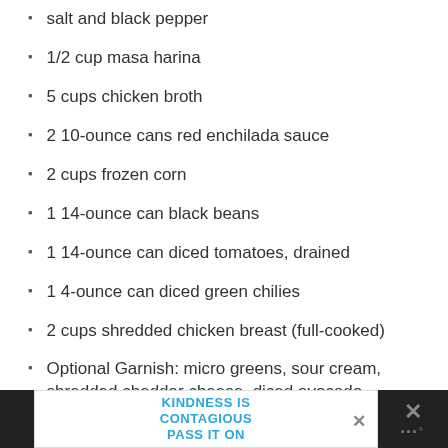salt and black pepper
1/2 cup masa harina
5 cups chicken broth
2 10-ounce cans red enchilada sauce
2 cups frozen corn
1 14-ounce can black beans
1 14-ounce can diced tomatoes, drained
1 4-ounce can diced green chilies
2 cups shredded chicken breast (full-cooked)
Optional Garnish: micro greens, sour cream, shredded cheddar cheese, diced avocado
KINDNESS IS CONTAGIOUS PASS IT ON